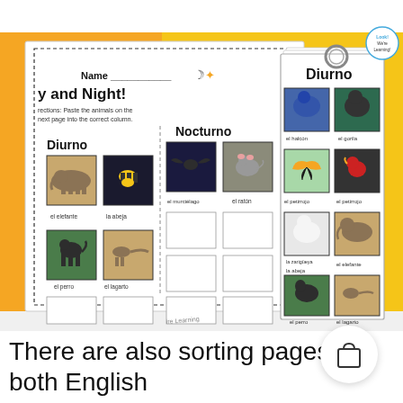[Figure (photo): Educational sorting worksheet photo showing Day and Night animal sorting pages in Spanish (Diurno/Nocturno). Left page shows a cut-and-paste sorting activity with animal photos labeled in Spanish (el elefante, la abeja, el perro, el lagarto, el murciélago, el ratón). Right side shows a flip-book/card set with animal images labeled: el halcón, el gorila, el petirrojo, la zarigüeya, la abeja, el elefante, el perro, el lagarto, el coyote. Background is orange on left and yellow on right. A small circular logo reads 'Look! We're Learning!' in top right corner.]
There are also sorting pages (in both English